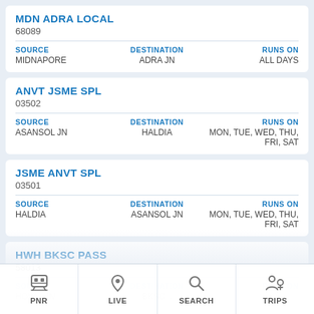MDN ADRA LOCAL
68089
SOURCE: MIDNAPORE | DESTINATION: ADRA JN | RUNS ON: ALL DAYS
ANVT JSME SPL
03502
SOURCE: ASANSOL JN | DESTINATION: HALDIA | RUNS ON: MON, TUE, WED, THU, FRI, SAT
JSME ANVT SPL
03501
SOURCE: HALDIA | DESTINATION: ASANSOL JN | RUNS ON: MON, TUE, WED, THU, FRI, SAT
HWH BKSC PASS
58013
SOURCE: HOW... JN | DESTINATION: BANKIPUR... | RUNS ON: ...
PNR | LIVE | SEARCH | TRIPS